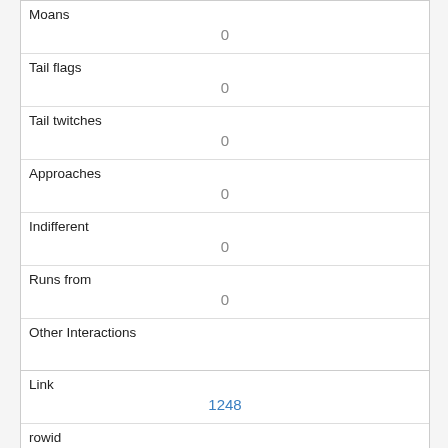| Moans | 0 |
| Tail flags | 0 |
| Tail twitches | 0 |
| Approaches | 0 |
| Indifferent | 0 |
| Runs from | 0 |
| Other Interactions |  |
| Lat/Long | POINT (-73.9565260889843 40.79918079243371) |
| Link | 1248 |
| rowid | 1248 |